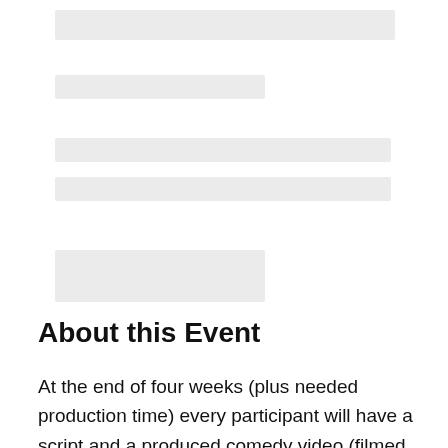[Figure (other): Skeleton loading placeholder bars at the top of the page]
About this Event
At the end of four weeks (plus needed production time) every participant will have a script and a produced comedy video (filmed remotely) for their portfolio, hosted on our online platforms. This is a class but run more like a writer's room. Come network, bounce your ideas around, get your scripts read and produced.